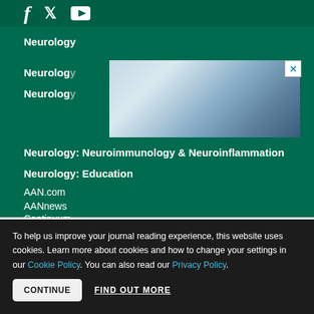[Figure (other): Social media icons: Facebook, Twitter, YouTube on dark green background]
Neurology
Neurology (partially obscured by ad)
Neurology (partially obscured by ad)
[Figure (other): Advertisement banner with close button X, showing a blurred outdoor/sky scene]
Neurology: Neuroimmunology & Neuroinflammation
Neurology: Education
AAN.com
AANnews
Continuum
To help us improve your journal reading experience, this website uses cookies. Learn more about cookies and how to change your settings in our Cookie Policy. You can also read our Privacy Policy.
CONTINUE   FIND OUT MORE